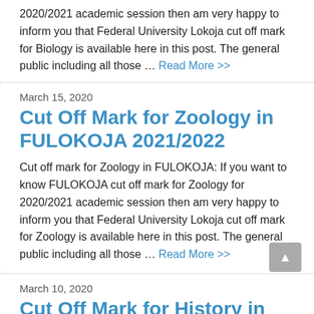2020/2021 academic session then am very happy to inform you that Federal University Lokoja cut off mark for Biology is available here in this post. The general public including all those …
Read More >>
March 15, 2020
Cut Off Mark for Zoology in FULOKOJA 2021/2022
Cut off mark for Zoology in FULOKOJA: If you want to know FULOKOJA cut off mark for Zoology for 2020/2021 academic session then am very happy to inform you that Federal University Lokoja cut off mark for Zoology is available here in this post. The general public including all those …
Read More >>
March 10, 2020
Cut Off Mark for History in